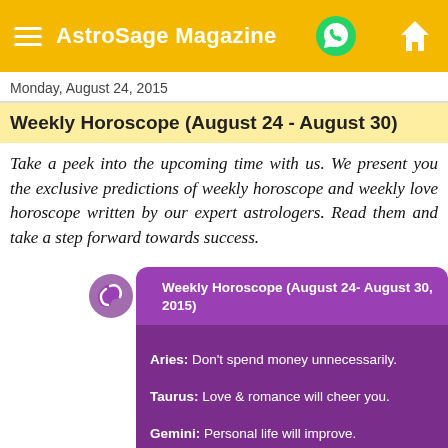AstroSage Magazine
Monday, August 24, 2015
Weekly Horoscope (August 24 - August 30)
Take a peek into the upcoming time with us. We present you the exclusive predictions of weekly horoscope and weekly love horoscope written by our expert astrologers. Read them and take a step forward towards success.
Weekly Horoscope (August 24- August 30, 2015)
Aries: Don't spend money unnecessarily.
Taurus: Love & romance will cheer you.
Gemini: Personal life will improve.
Cancer: You will increase your hard work.
Leo: Financial profits are possible.